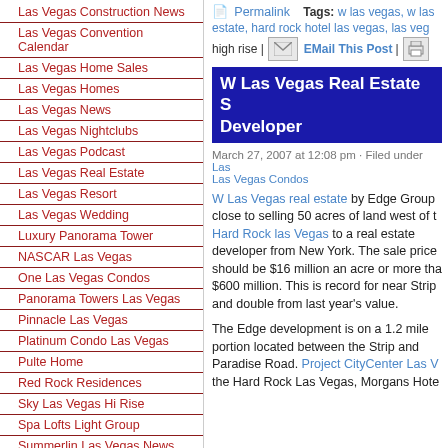Las Vegas Construction News
Las Vegas Convention Calendar
Las Vegas Home Sales
Las Vegas Homes
Las Vegas News
Las Vegas Nightclubs
Las Vegas Podcast
Las Vegas Real Estate
Las Vegas Resort
Las Vegas Wedding
Luxury Panorama Tower
NASCAR Las Vegas
One Las Vegas Condos
Panorama Towers Las Vegas
Pinnacle Las Vegas
Platinum Condo Las Vegas
Pulte Home
Red Rock Residences
Sky Las Vegas Hi Rise
Spa Lofts Light Group
Summerlin Las Vegas News
Summerlin Nevada Real Estate
Permalink  Tags: w las vegas, w las estate, hard rock hotel las vegas, las veg... high rise | EMail This Post |
W Las Vegas Real Estate S... Developer
March 27, 2007 at 12:08 pm · Filed under Las... Las Vegas Condos
W Las Vegas real estate by Edge Group close to selling 50 acres of land west of the Hard Rock las Vegas to a real estate developer from New York. The sale price should be $16 million an acre or more than $600 million. This is record for near Strip and double from last year's value.
The Edge development is on a 1.2 mile portion located between the Strip and Paradise Road. Project CityCenter Las V... the Hard Rock Las Vegas, Morgans Hote...